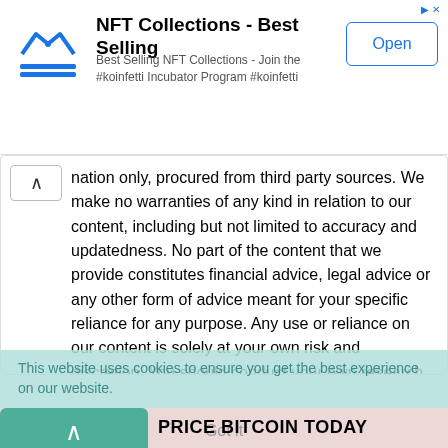[Figure (other): NFT Collections - Best Selling app advertisement banner with logo, text, and Open button]
nation only, procured from third party sources. We make no warranties of any kind in relation to our content, including but not limited to accuracy and updatedness. No part of the content that we provide constitutes financial advice, legal advice or any other form of advice meant for your specific reliance for any purpose. Any use or reliance on our content is solely at your own risk and discretion. You should conduct your own research, review, analyse and verify our content before relying on them. Trading is a highly risky activity that can lead to major losses, please therefore consult your financial advisor before making any decision. No content on our Site is meant to be a solicitation or offer
This website uses cookies to ensure you get the best experience on our website.
Got it
PRICE BITCOIN TODAY
Price Bitcoin Today shows the most accurate live prices, charts